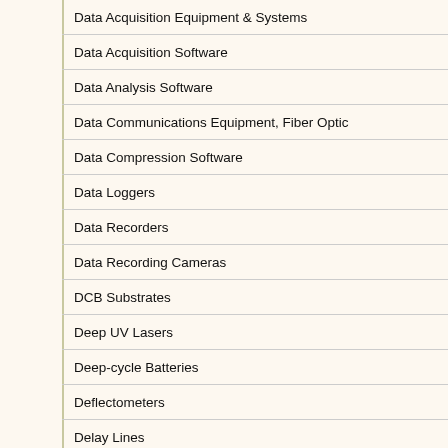Data Acquisition Equipment & Systems
Data Acquisition Software
Data Analysis Software
Data Communications Equipment, Fiber Optic
Data Compression Software
Data Loggers
Data Recorders
Data Recording Cameras
DCB Substrates
Deep UV Lasers
Deep-cycle Batteries
Deflectometers
Delay Lines
Demultiplexers, Fiber Optic Dense Wavelength Division
Demultiplexers, Fiber Optic Wavelength Division